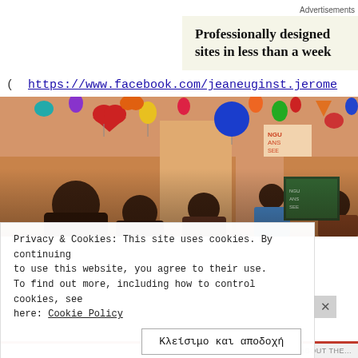Advertisements
Professionally designed sites in less than a week
( https://www.facebook.com/jeaneuginst.jerome
[Figure (photo): Classroom photo showing children and adults in a decorated room with colorful paper cutout shapes hanging from the ceiling and walls, and a chalkboard in the background.]
Privacy & Cookies: This site uses cookies. By continuing to use this website, you agree to their use. To find out more, including how to control cookies, see here: Cookie Policy
Κλείσιμο και αποδοχή